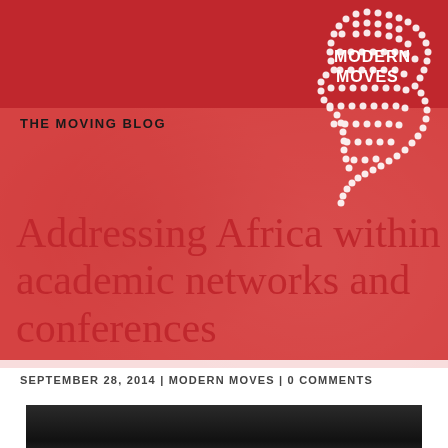Menu
[Figure (logo): Modern Moves logo: stylized Africa continent shape made of dots in white and red, with text MODERN MOVES]
THE MOVING BLOG
Addressing Africa within academic networks and conferences
SEPTEMBER 28, 2014 | MODERN MOVES | 0 COMMENTS
[Figure (photo): Interior architectural photo showing ceiling with lighting in a dark venue]